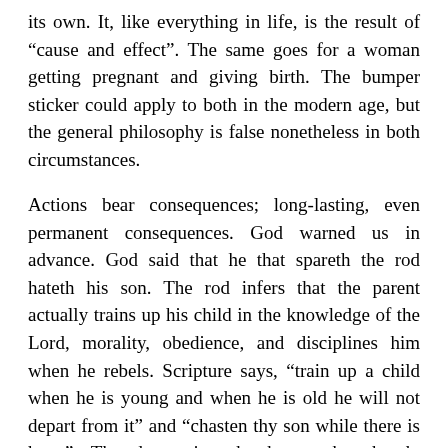its own. It, like everything in life, is the result of “cause and effect”. The same goes for a woman getting pregnant and giving birth. The bumper sticker could apply to both in the modern age, but the general philosophy is false nonetheless in both circumstances.
Actions bear consequences; long-lasting, even permanent consequences. God warned us in advance. God said that he that spareth the rod hateth his son. The rod infers that the parent actually trains up his child in the knowledge of the Lord, morality, obedience, and disciplines him when he rebels. Scripture says, “train up a child when he is young and when he is old he will not depart from it” and “chasten thy son while there is hope”. The destruction the home, the church, society, the nation, all of Christendom is a direct and cumulative effect of violating all that God commanded —large and small. On something like the Space Shuttle or